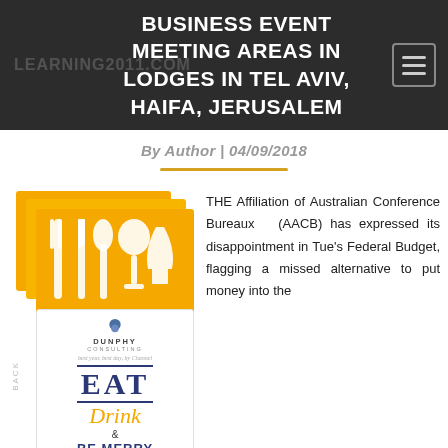BUSINESS EVENT MEETING AREAS IN LODGES IN TEL AVIV, HAIFA, JERUSALEM
By Author | 04/09/2018
[Figure (photo): Promotional cards for 'Eat Drink & Be Merry Dinner Party' by Dunphy Consulting, with yellow/orange background showing white silhouettes of fork, knife, spoon, and wine glasses.]
THE Affiliation of Australian Conference Bureaux (AACB) has expressed its disappointment in Tue's Federal Budget, flagging a missed alternative to put money into the